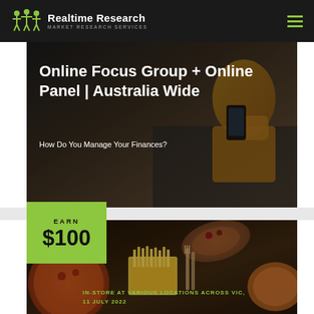Realtime Research — Market Research Services
Online Focus Group + Online Panel | Australia Wide
How Do You Manage Your Finances?
[Figure (photo): Person in yellow hoodie looking at a smartphone, dimly lit background]
EARN $100
[Figure (photo): Overhead view of food dishes on a dark table, including pizza, fries, salad, and wraps with cutlery]
IN-STORE AT VARIOUS LOCATIONS ACROSS VIC, 11 JULY 2022